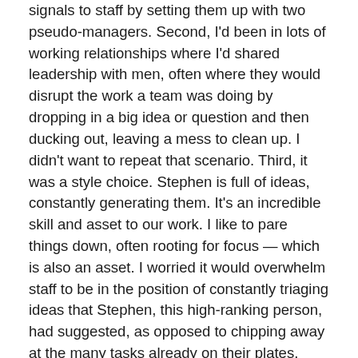signals to staff by setting them up with two pseudo-managers. Second, I'd been in lots of working relationships where I'd shared leadership with men, often where they would disrupt the work a team was doing by dropping in a big idea or question and then ducking out, leaving a mess to clean up. I didn't want to repeat that scenario. Third, it was a style choice. Stephen is full of ideas, constantly generating them. It's an incredible skill and asset to our work. I like to pare things down, often rooting for focus — which is also an asset. I worried it would overwhelm staff to be in the position of constantly triaging ideas that Stephen, this high-ranking person, had suggested, as opposed to chipping away at the many tasks already on their plates.
We also made a choice for our candidate to defer to staff when volunteers had a question or needed direction